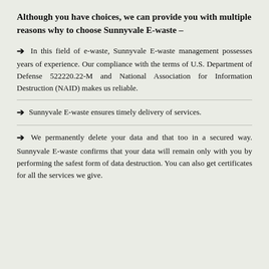Although you have choices, we can provide you with multiple reasons why to choose Sunnyvale E-waste –
In this field of e-waste, Sunnyvale E-waste management possesses years of experience. Our compliance with the terms of U.S. Department of Defense 522220.22-M and National Association for Information Destruction (NAID) makes us reliable.
Sunnyvale E-waste ensures timely delivery of services.
We permanently delete your data and that too in a secured way. Sunnyvale E-waste confirms that your data will remain only with you by performing the safest form of data destruction. You can also get certificates for all the services we give.